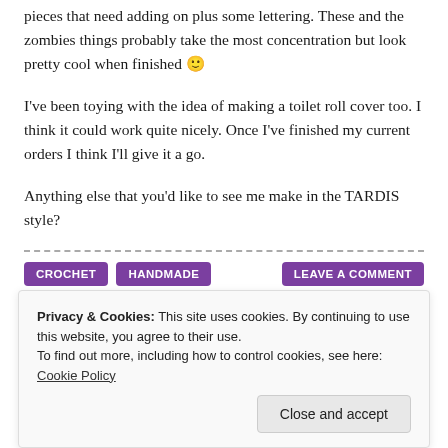…indidest items that I make – there are lots of separate bits and pieces that need adding on plus some lettering. These and the zombies things probably take the most concentration but look pretty cool when finished 🙂
I've been toying with the idea of making a toilet roll cover too. I think it could work quite nicely. Once I've finished my current orders I think I'll give it a go.
Anything else that you'd like to see me make in the TARDIS style?
CROCHET   HANDMADE   LEAVE A COMMENT
Privacy & Cookies: This site uses cookies. By continuing to use this website, you agree to their use.
To find out more, including how to control cookies, see here: Cookie Policy
Close and accept